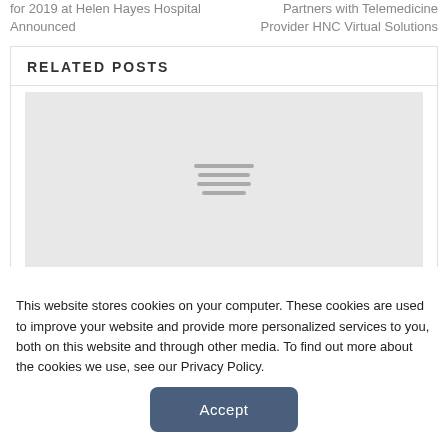for 2019 at Helen Hayes Hospital Announced
Partners with Telemedicine Provider HNC Virtual Solutions
RELATED POSTS
[Figure (other): Placeholder image with loading lines icon in gray box]
This website stores cookies on your computer. These cookies are used to improve your website and provide more personalized services to you, both on this website and through other media. To find out more about the cookies we use, see our Privacy Policy.
Accept